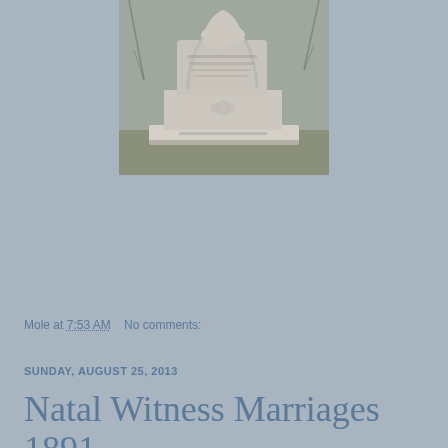[Figure (photo): A photograph of a white marble cemetery grave monument with a draped figure sculpture on top, set against bare trees and ground]
Mole at 7:53 AM    No comments:
SUNDAY, AUGUST 25, 2013
Natal Witness Marriages 1891